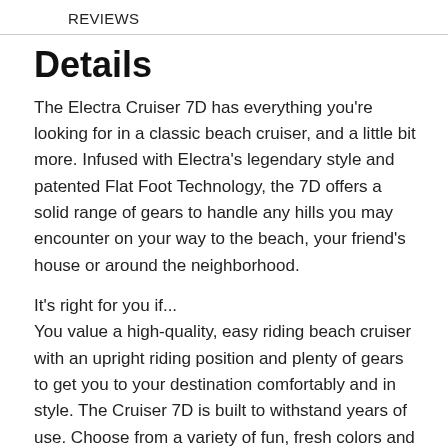REVIEWS
Details
The Electra Cruiser 7D has everything you're looking for in a classic beach cruiser, and a little bit more. Infused with Electra's legendary style and patented Flat Foot Technology, the 7D offers a solid range of gears to handle any hills you may encounter on your way to the beach, your friend's house or around the neighborhood.
It's right for you if...
You value a high-quality, easy riding beach cruiser with an upright riding position and plenty of gears to get you to your destination comfortably and in style. The Cruiser 7D is built to withstand years of use. Choose from a variety of fun, fresh colors and get ready to turn some heads.